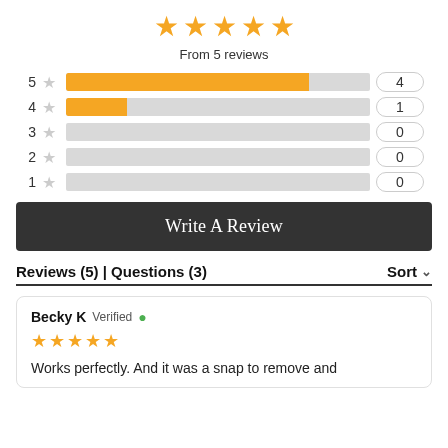[Figure (other): Five gold stars rating display]
From 5 reviews
[Figure (bar-chart): Rating distribution]
Write A Review
Reviews (5) | Questions (3)    Sort
Becky K Verified ✓
Works perfectly. And it was a snap to remove and